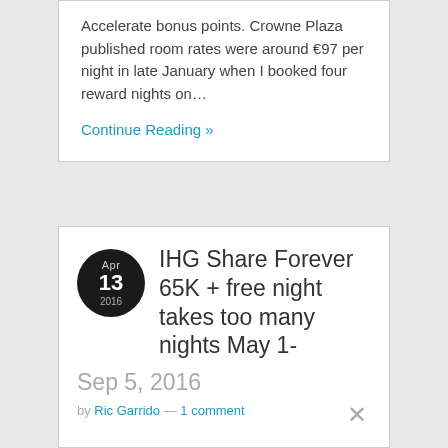Accelerate bonus points. Crowne Plaza published room rates were around €97 per night in late January when I booked four reward nights on…
Continue Reading »
IHG Share Forever 65K + free night takes too many nights May 1- Sep 5, 2016
by Ric Garrido — 1 comment